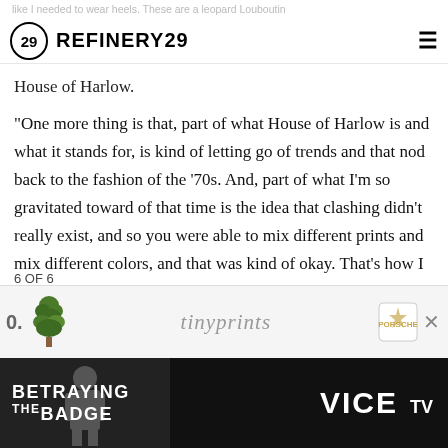like I needed to wear heels. These are a leopard Louboutin
REFINERY29
House of Harlow.
"One more thing is that, part of what House of Harlow is and what it stands for, is kind of letting go of trends and that nod back to the fashion of the '70s. And, part of what I'm so gravitated toward of that time is the idea that clashing didn't really exist, and so you were able to mix different prints and mix different colors, and that was kind of okay. That's how I approach fashion. I'm not a big believer in clashing. I think that you just have to go with whatever you feels works."
6 OF 6
[Figure (screenshot): Advertisement bar with tinyprints logo and Porsche logo]
[Figure (screenshot): Banner advertisement: BETRAYING THE BADGE on VICE TV, dark background with silhouette figure]